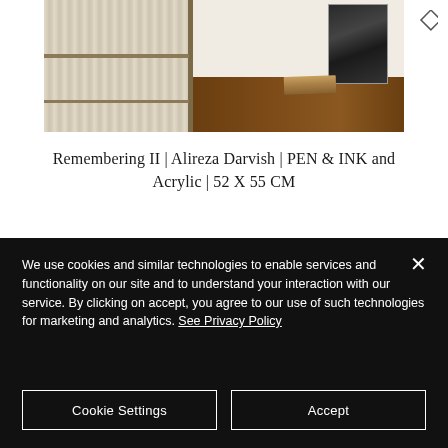[Figure (photo): A room scene showing a folding screen/panel with vertical wood-grain texture on the left, a framed artwork/painting leaning against the wall on the right, and books stacked on a dark wooden floor.]
Remembering II | Alireza Darvish | PEN & INK and Acrylic | 52 X 55 CM
GISTA ARTS offers a selection of artworks...
We use cookies and similar technologies to enable services and functionality on our site and to understand your interaction with our service. By clicking on accept, you agree to our use of such technologies for marketing and analytics. See Privacy Policy